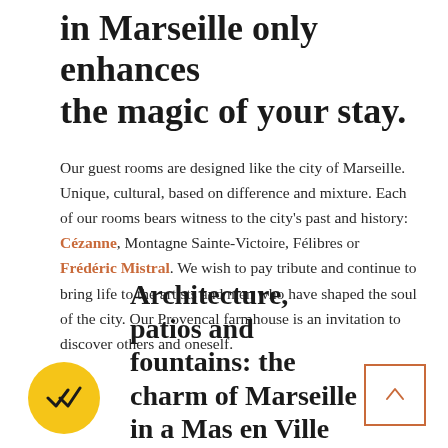in Marseille only enhances the magic of your stay.
Our guest rooms are designed like the city of Marseille. Unique, cultural, based on difference and mixture. Each of our rooms bears witness to the city's past and history: Cézanne, Montagne Sainte-Victoire, Félibres or Frédéric Mistral. We wish to pay tribute and continue to bring life to the artists and men who have shaped the soul of the city. Our Provencal farmhouse is an invitation to discover others and oneself.
Architecture, patios and fountains: the charm of Marseille in a Mas en Ville